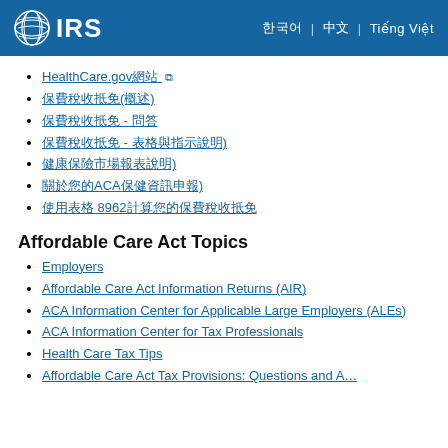IRS
HealthCare.gov網站 [external link]
保費稅收抵免(概述)
保費稅收抵免 - 問答
保費稅收抵免 - 表格與指示說明)
健康保險市場報表說明)
關於您的ACA保健資訊申報)
使用表格 8962計算您的保費稅收抵免
Affordable Care Act Topics
Employers
Affordable Care Act Information Returns (AIR)
ACA Information Center for Applicable Large Employers (ALEs)
ACA Information Center for Tax Professionals
Health Care Tax Tips
Affordable Care Act Tax Provisions: Questions and Answers